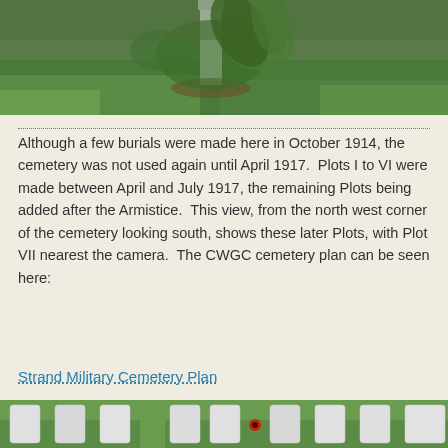[Figure (photo): Outdoor cemetery photo showing a white grave marker with green plants/grass in background, viewed from above/partial]
Although a few burials were made here in October 1914, the cemetery was not used again until April 1917.  Plots I to VI were made between April and July 1917, the remaining Plots being added after the Armistice.  This view, from the north west corner of the cemetery looking south, shows these later Plots, with Plot VII nearest the camera.  The CWGC cemetery plan can be seen here:
Strand Military Cemetery Plan
[Figure (photo): Bottom portion of cemetery photo showing rows of white gravestones on green grass with a small red flower visible]